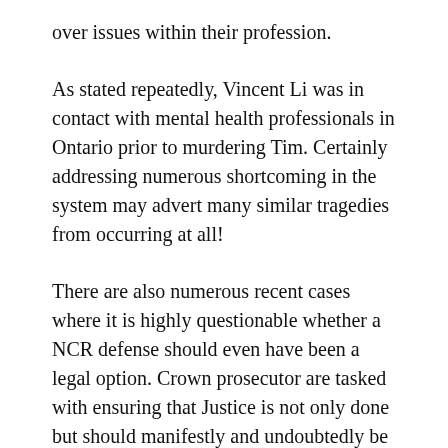over issues within their profession.
As stated repeatedly, Vincent Li was in contact with mental health professionals in Ontario prior to murdering Tim. Certainly addressing numerous shortcoming in the system may advert many similar tragedies from occurring at all!
There are also numerous recent cases where it is highly questionable whether a NCR defense should even have been a legal option. Crown prosecutor are tasked with ensuring that Justice is not only done but should manifestly and undoubtedly be seem to be done. The handling of cases such as Allan Dwayne Schoenborn certainly bring their calling into disrepute.
So I respectfully concur that something is broke and need fixing. Tim's Law is not seeking revenge